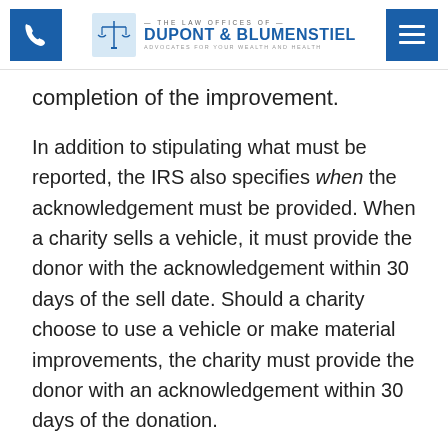THE LAW OFFICES OF DUPONT & BLUMENSTIEL — ADVOCATES FOR YOUR WEALTH AND HEALTH
completion of the improvement.
In addition to stipulating what must be reported, the IRS also specifies when the acknowledgement must be provided. When a charity sells a vehicle, it must provide the donor with the acknowledgement within 30 days of the sell date. Should a charity choose to use a vehicle or make material improvements, the charity must provide the donor with an acknowledgement within 30 days of the donation.